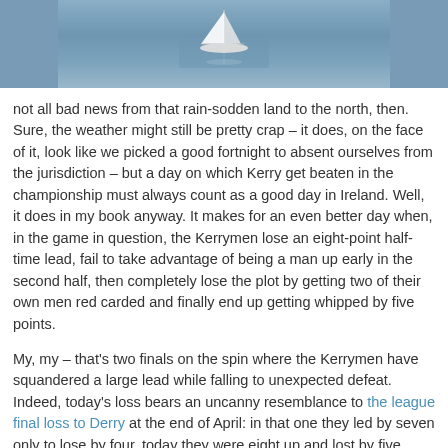[Figure (photo): A sailboat on open water, viewed from above and at a distance. The water is a blue-grey color with light reflections.]
not all bad news from that rain-sodden land to the north, then. Sure, the weather might still be pretty crap – it does, on the face of it, look like we picked a good fortnight to absent ourselves from the jurisdiction – but a day on which Kerry get beaten in the championship must always count as a good day in Ireland. Well, it does in my book anyway. It makes for an even better day when, in the game in question, the Kerrymen lose an eight-point half-time lead, fail to take advantage of being a man up early in the second half, then completely lose the plot by getting two of their own men red carded and finally end up getting whipped by five points.
My, my – that's two finals on the spin where the Kerrymen have squandered a large lead while falling to unexpected defeat. Indeed, today's loss bears an uncanny resemblance to the league final loss to Derry at the end of April: in that one they led by seven only to lose by four, today they were eight up and lost by five. Could